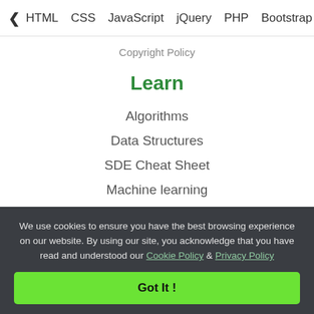< HTML   CSS   JavaScript   jQuery   PHP   Bootstrap   N>
Copyright Policy
Learn
Algorithms
Data Structures
SDE Cheat Sheet
Machine learning
CS Subjects
Video Tutorials
Courses
We use cookies to ensure you have the best browsing experience on our website. By using our site, you acknowledge that you have read and understood our Cookie Policy & Privacy Policy
Got It !